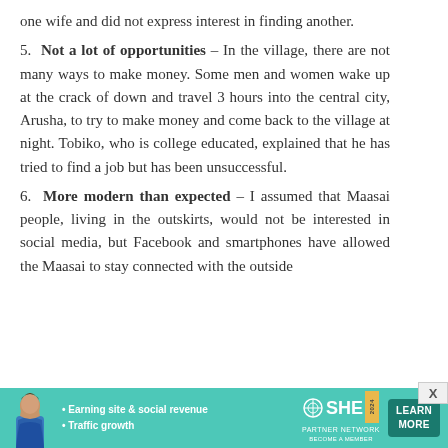one wife and did not express interest in finding another.
5. Not a lot of opportunities – In the village, there are not many ways to make money. Some men and women wake up at the crack of down and travel 3 hours into the central city, Arusha, to try to make money and come back to the village at night. Tobiko, who is college educated, explained that he has tried to find a job but has been unsuccessful.
6. More modern than expected – I assumed that Maasai people, living in the outskirts, would not be interested in social media, but Facebook and smartphones have allowed the Maasai to stay connected with the outside
[Figure (infographic): SHE PARTNER NETWORK advertisement banner with woman photo, bullet points about Earning site & social revenue and Traffic growth, SHE logo, and LEARN MORE button]